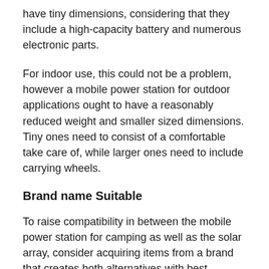have tiny dimensions, considering that they include a high-capacity battery and numerous electronic parts.
For indoor use, this could not be a problem, however a mobile power station for outdoor applications ought to have a reasonably reduced weight and smaller sized dimensions. Tiny ones need to consist of a comfortable take care of, while larger ones need to include carrying wheels.
Brand name Suitable
To raise compatibility in between the mobile power station for camping as well as the solar array, consider acquiring items from a brand that creates both alternatives with best